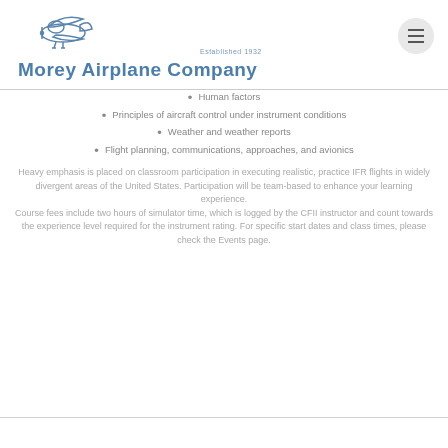Morey Airplane Company — Established 1932
Human factors
Principles of aircraft control under instrument conditions
Weather and weather reports
Flight planning, communications, approaches, and avionics
Heavy emphasis is placed on classroom participation in executing realistic, practice IFR flights in widely divergent areas of the United States. Participation will be team-based to enhance your learning experience. Course fees include two hours of simulator time, which is logged by the CFII instructor and count towards the experience level required for the instrument rating. For specific start dates and class times, please check the Events page.